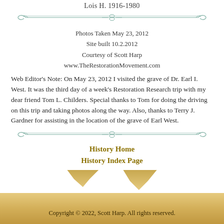Lois H. 1916-1980
[Figure (illustration): Decorative horizontal divider with scrollwork and leaf motifs in teal/green color]
Photos Taken May 23, 2012
Site built 10.2.2012
Courtesy of Scott Harp
www.TheRestorationMovement.com
Web Editor's Note: On May 23, 2012 I visited the grave of Dr. Earl I. West. It was the third day of a week's Restoration Research trip with my dear friend Tom L. Childers. Special thanks to Tom for doing the driving on this trip and taking photos along the way. Also, thanks to Terry J. Gardner for assisting in the location of the grave of Earl West.
[Figure (illustration): Decorative horizontal divider with scrollwork and leaf motifs in teal/green color]
History Home
History Index Page
Copyright © 2022, Scott Harp. All rights reserved.